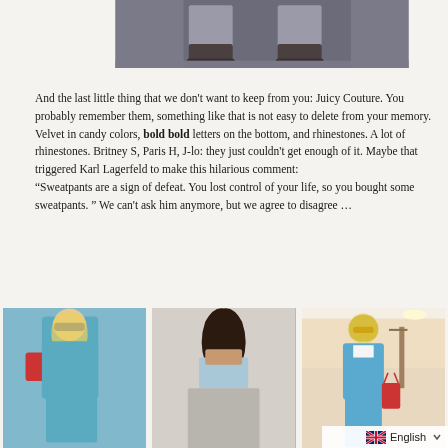[Figure (photo): Cropped photo showing lower portion of a person wearing grey trousers and dark boots standing in a hallway]
And the last little thing that we don't want to keep from you: Juicy Couture. You probably remember them, something like that is not easy to delete from your memory. Velvet in candy colors, bold bold letters on the bottom, and rhinestones. A lot of rhinestones. Britney S, Paris H, J-lo: they just couldn't get enough of it. Maybe that triggered Karl Lagerfeld to make this hilarious comment: “Sweatpants are a sign of defeat. You lost control of your life, so you bought some sweatpants. ” We can't ask him anymore, but we agree to disagree …
[Figure (photo): Paris Hilton wearing a blue Juicy Couture tracksuit with sunglasses, carrying a red bag]
[Figure (photo): Woman from behind wearing a light blue tube top, dark hair]
[Figure (photo): Britney Spears wearing a blue Juicy Couture zip-up jacket in a clothing store]
English